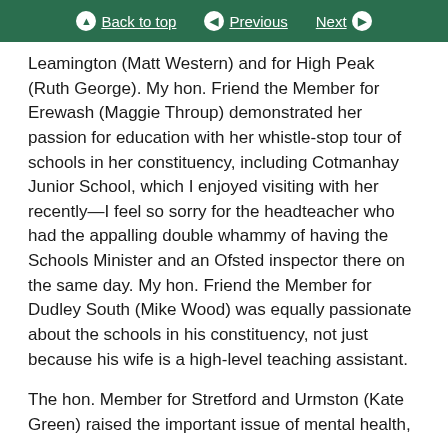Back to top | Previous | Next
Leamington (Matt Western) and for High Peak (Ruth George). My hon. Friend the Member for Erewash (Maggie Throup) demonstrated her passion for education with her whistle-stop tour of schools in her constituency, including Cotmanhay Junior School, which I enjoyed visiting with her recently—I feel so sorry for the headteacher who had the appalling double whammy of having the Schools Minister and an Ofsted inspector there on the same day. My hon. Friend the Member for Dudley South (Mike Wood) was equally passionate about the schools in his constituency, not just because his wife is a high-level teaching assistant.
The hon. Member for Stretford and Urmston (Kate Green) raised the important issue of mental health,